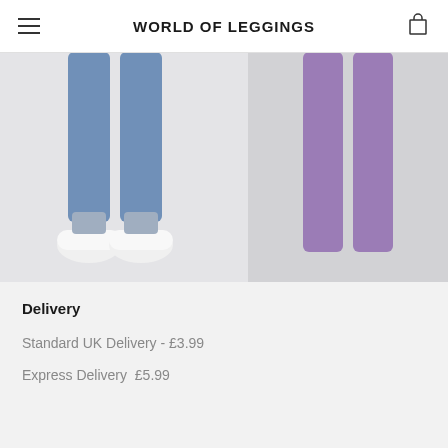WORLD OF LEGGINGS
[Figure (photo): Photo of person wearing blue/steel grey shiny leggings with white sneakers on a light grey background, cropped to show legs only]
fasheon Steel Grey Shiny Leggings
£7.99  £12.99
[Figure (photo): Partially visible photo of person wearing purple leggings, cropped at right edge]
fasheon Purp... Leggings
£7.99  £11...
Delivery
Standard UK Delivery - £3.99
Express Delivery  £5.99